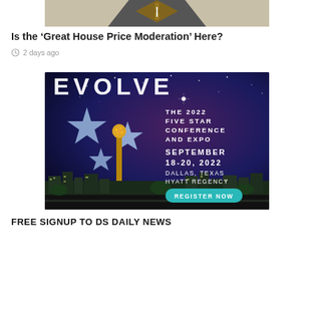[Figure (illustration): Road with diamond/arrow shape illustration — partial top of article image]
Is the ‘Great House Price Moderation’ Here?
2 days ago
[Figure (infographic): EVOLVE — THE 2022 FIVE STAR CONFERENCE AND EXPO, SEPTEMBER 18-20, 2022, DALLAS, TEXAS HYATT REGENCY, REGISTER NOW. Dark blue/purple starry night background with three large stars and Reunion Tower, Dallas skyline.]
FREE SIGNUP TO DS DAILY NEWS